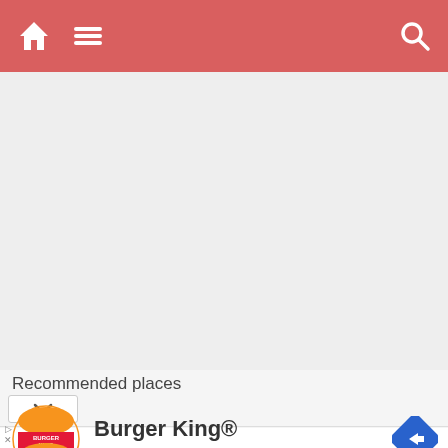Navigation bar with home icon, menu icon, and search icon
[Figure (screenshot): Gray map/content area placeholder]
Recommended places
[Figure (screenshot): Chevron/dropdown selector]
Burger King® Burger King